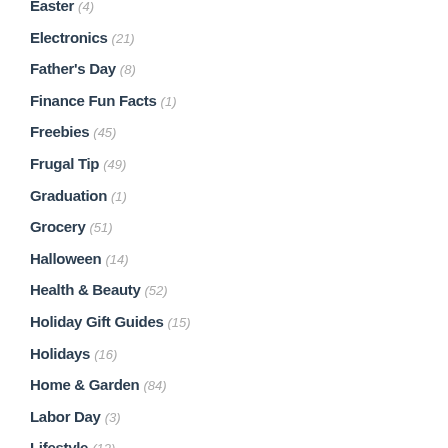Easter (4)
Electronics (21)
Father's Day (8)
Finance Fun Facts (1)
Freebies (45)
Frugal Tip (49)
Graduation (1)
Grocery (51)
Halloween (14)
Health & Beauty (52)
Holiday Gift Guides (15)
Holidays (16)
Home & Garden (84)
Labor Day (3)
Lifestyle (12)
Making Money (7)
Memorial Day (?)